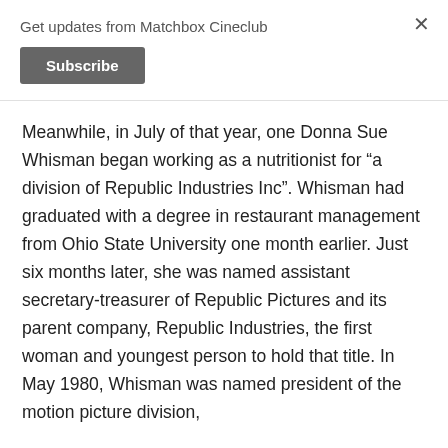Get updates from Matchbox Cineclub
Subscribe
Meanwhile, in July of that year, one Donna Sue Whisman began working as a nutritionist for “a division of Republic Industries Inc”. Whisman had graduated with a degree in restaurant management from Ohio State University one month earlier. Just six months later, she was named assistant secretary-treasurer of Republic Pictures and its parent company, Republic Industries, the first woman and youngest person to hold that title. In May 1980, Whisman was named president of the motion picture division,